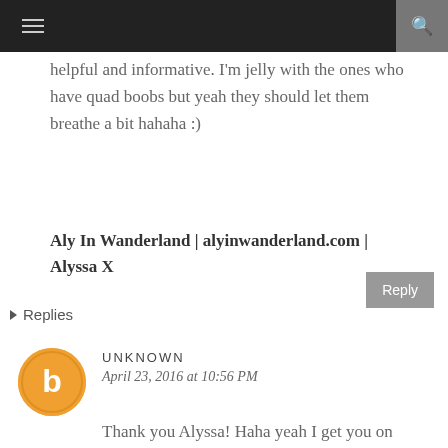☰ [menu] [search]
helpful and informative. I'm jelly with the ones who have quad boobs but yeah they should let them breathe a bit hahaha :)
Aly In Wanderland | alyinwanderland.com | Alyssa X
▸ Replies
UNKNOWN
April 23, 2016 at 10:56 PM
Thank you Alyssa! Haha yeah I get you on that